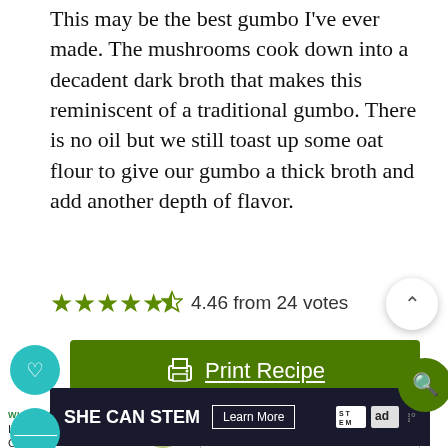This may be the best gumbo I've ever made. The mushrooms cook down into a decadent dark broth that makes this reminiscent of a traditional gumbo. There is no oil but we still toast up some oat flour to give our gumbo a thick broth and add another depth of flavor.
4.46 from 24 votes
Print Recipe
Pin Recipe
WHAT'S NEXT → Instant Pot Creamy...
[Figure (screenshot): Ad banner: SHE CAN STEM with Learn More button and logos]